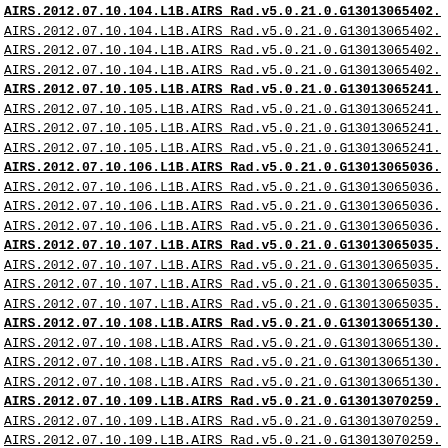AIRS.2012.07.10.104.L1B.AIRS Rad.v5.0.21.0.G13013065402.
AIRS.2012.07.10.104.L1B.AIRS Rad.v5.0.21.0.G13013065402.
AIRS.2012.07.10.104.L1B.AIRS Rad.v5.0.21.0.G13013065402.
AIRS.2012.07.10.104.L1B.AIRS Rad.v5.0.21.0.G13013065402.
AIRS.2012.07.10.105.L1B.AIRS Rad.v5.0.21.0.G13013065241.
AIRS.2012.07.10.105.L1B.AIRS Rad.v5.0.21.0.G13013065241.
AIRS.2012.07.10.105.L1B.AIRS Rad.v5.0.21.0.G13013065241.
AIRS.2012.07.10.105.L1B.AIRS Rad.v5.0.21.0.G13013065241.
AIRS.2012.07.10.106.L1B.AIRS Rad.v5.0.21.0.G13013065036.
AIRS.2012.07.10.106.L1B.AIRS Rad.v5.0.21.0.G13013065036.
AIRS.2012.07.10.106.L1B.AIRS Rad.v5.0.21.0.G13013065036.
AIRS.2012.07.10.106.L1B.AIRS Rad.v5.0.21.0.G13013065036.
AIRS.2012.07.10.107.L1B.AIRS Rad.v5.0.21.0.G13013065035.
AIRS.2012.07.10.107.L1B.AIRS Rad.v5.0.21.0.G13013065035.
AIRS.2012.07.10.107.L1B.AIRS Rad.v5.0.21.0.G13013065035.
AIRS.2012.07.10.107.L1B.AIRS Rad.v5.0.21.0.G13013065035.
AIRS.2012.07.10.108.L1B.AIRS Rad.v5.0.21.0.G13013065130.
AIRS.2012.07.10.108.L1B.AIRS Rad.v5.0.21.0.G13013065130.
AIRS.2012.07.10.108.L1B.AIRS Rad.v5.0.21.0.G13013065130.
AIRS.2012.07.10.108.L1B.AIRS Rad.v5.0.21.0.G13013065130.
AIRS.2012.07.10.109.L1B.AIRS Rad.v5.0.21.0.G13013070259.
AIRS.2012.07.10.109.L1B.AIRS Rad.v5.0.21.0.G13013070259.
AIRS.2012.07.10.109.L1B.AIRS Rad.v5.0.21.0.G13013070259.
AIRS.2012.07.10.109.L1B.AIRS Rad.v5.0.21.0.G13013070259.